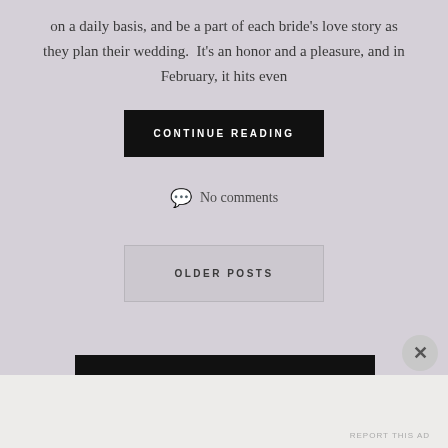on a daily basis, and be a part of each bride’s love story as they plan their wedding.  It’s an honor and a pleasure, and in February, it hits even
CONTINUE READING
No comments
OLDER POSTS
Advertisements
REPORT THIS AD